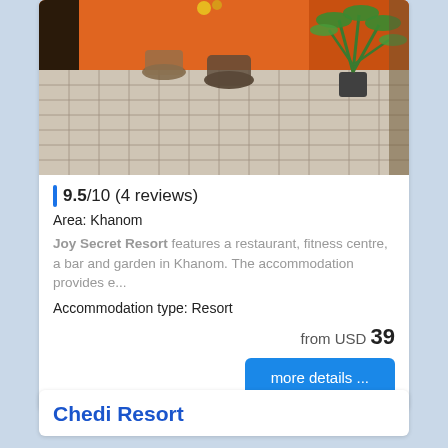[Figure (photo): Outdoor patio/terrace of Joy Secret Resort showing orange walls, tiled floor, wicker chairs, and a potted plant]
| 9.5/10 (4 reviews)
Area: Khanom
Joy Secret Resort features a restaurant, fitness centre, a bar and garden in Khanom. The accommodation provides e...
Accommodation type: Resort
from USD 39
more details ...
Chedi Resort